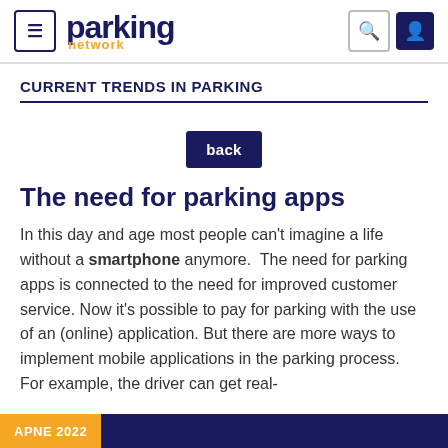parking network
CURRENT TRENDS IN PARKING
[Figure (other): Back button — dark navy square with white text 'back']
The need for parking apps
In this day and age most people can't imagine a life without a smartphone anymore.  The need for parking apps is connected to the need for improved customer service. Now it's possible to pay for parking with the use of an (online) application. But there are more ways to implement mobile applications in the parking process. For example, the driver can get real-
APNE 2022